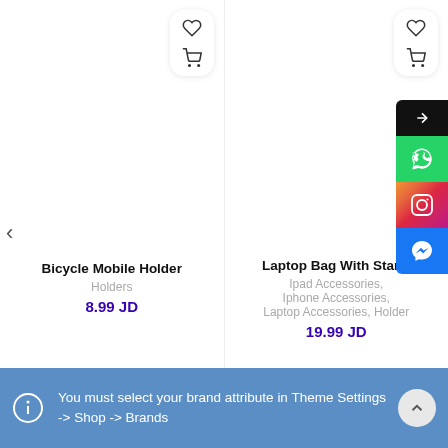[Figure (screenshot): Product card for Bicycle Mobile Holder showing heart icon, cart icon, product name, category Holders, and price 8.99 JD]
Bicycle Mobile Holder
Holders
8.99 JD
[Figure (screenshot): Product card for Laptop Bag With Stand showing heart icon, cart icon, product name, categories Ipad Accessories, Iphone Accessories, Laptop Accessories, Holders, and price 19.99 JD]
Laptop Bag With Stand
Ipad Accessories, Iphone Accessories, Laptop Accessories, Holders
19.99 JD
You must select your brand attribute in Theme Settings -> Shop -> Brands